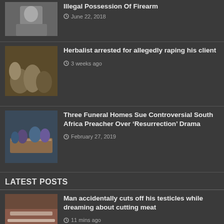[Figure (photo): Mugshot of young man]
Illegal Possession Of Firearm
June 22, 2018
[Figure (photo): Clay pots and herbs]
Herbalist arrested for allegedly raping his client
3 weeks ago
[Figure (photo): Funeral scene with coffin]
Three Funeral Homes Sue Controversial South Africa Preacher Over ‘Resurrection’ Drama
February 27, 2019
LATEST POSTS
[Figure (photo): Close-up of arm/meat cutting]
Man accidentally cuts off his testicles while dreaming about cutting meat
11 mins ago
[Figure (photo): Man in dark hoodie, mugshot]
Criminal who has been on the run for years is caught after applying for police job
4 hours ago
[Figure (photo): Partial image at bottom, cropped]